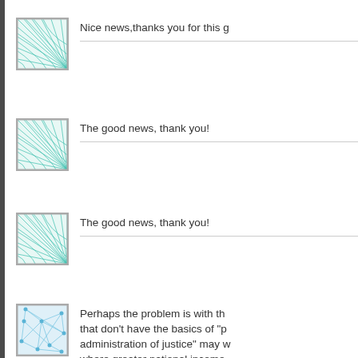[Figure (illustration): Teal circular spiral/fan pattern avatar icon with grid lines]
Nice news,thanks you for this g
[Figure (illustration): Teal circular spiral/fan pattern avatar icon with grid lines]
The good news, thank you!
[Figure (illustration): Teal circular spiral/fan pattern avatar icon with grid lines]
The good news, thank you!
[Figure (illustration): Light blue geometric network/web pattern avatar icon]
Perhaps the problem is with th that don't have the basics of "p administration of justice" may w where greater national income capita GDP.